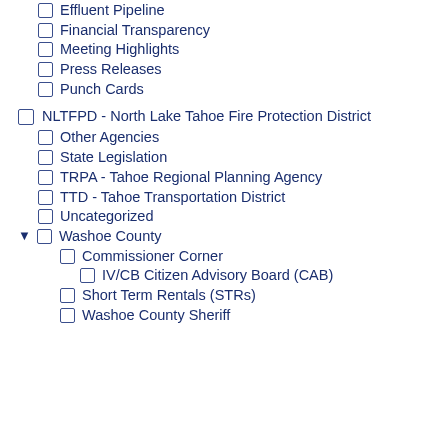Effluent Pipeline
Financial Transparency
Meeting Highlights
Press Releases
Punch Cards
NLTFPD - North Lake Tahoe Fire Protection District
Other Agencies
State Legislation
TRPA - Tahoe Regional Planning Agency
TTD - Tahoe Transportation District
Uncategorized
Washoe County
Commissioner Corner
IV/CB Citizen Advisory Board (CAB)
Short Term Rentals (STRs)
Washoe County Sheriff